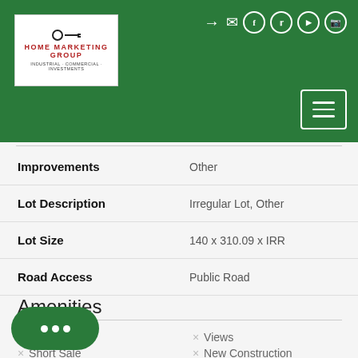[Figure (logo): Home Marketing Group logo with key icon and tagline 'Industrial, Commercial, Investments']
| Field | Value |
| --- | --- |
| Improvements | Other |
| Lot Description | Irregular Lot, Other |
| Lot Size | 140 x 310.09 x IRR |
| Road Access | Public Road |
Amenities
× Views
× Short Sale
× New Construction